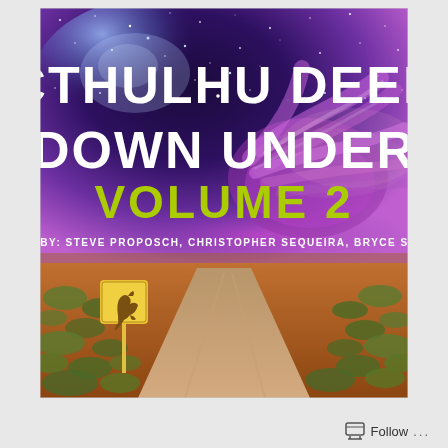[Figure (illustration): Book cover of 'Cthulhu Deep Down Under Volume 2'. Background shows a dramatic scene: top half is a night sky with stars and the Milky Way in deep blue and purple hues, with a large tentacled Cthulhu creature emerging from clouds in the right center. Bottom half is an outback Australian dirt road with sparse scrubland on both sides and a yellow kangaroo warning road sign on the left. Large white bold text at top reads 'CTHULHU DEEP DOWN UNDER'. Below in large yellow-green bold text: 'VOLUME 2'. Below that in small white spaced text: 'EDITED BY: STEVE PROPOSCH, CHRISTOPHER SEQUEIRA, BRYCE STEVENS'.]
Follow ...